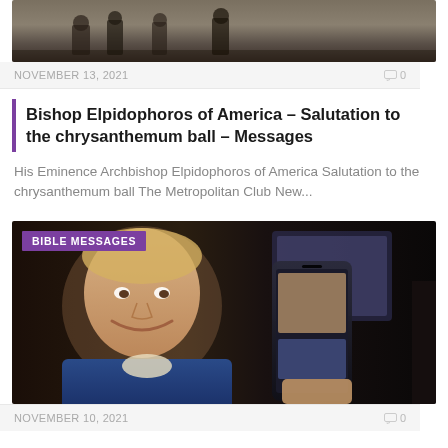[Figure (photo): Top portion of a news article card showing a dark thumbnail image with people in the background]
NOVEMBER 13, 2021   0
Bishop Elpidophoros of America – Salutation to the chrysanthemum ball – Messages
His Eminence Archbishop Elpidophoros of America Salutation to the chrysanthemum ball The Metropolitan Club New...
[Figure (photo): Video thumbnail showing a young blond man in a blue jacket holding up a smartphone displaying images, with a 'BIBLE MESSAGES' badge overlay in purple]
NOVEMBER 10, 2021   0